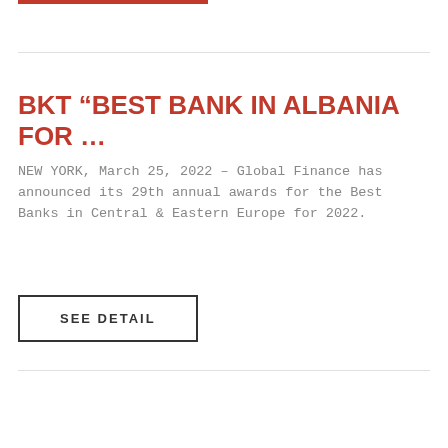BKT “BEST BANK IN ALBANIA FOR …
NEW YORK, March 25, 2022 – Global Finance has announced its 29th annual awards for the Best Banks in Central & Eastern Europe for 2022.
SEE DETAIL